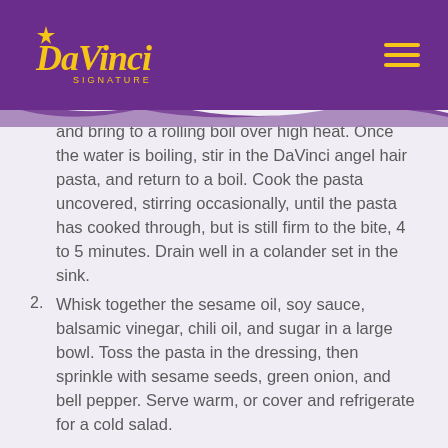DaVinci Signature
and bring to a rolling boil over high heat. Once the water is boiling, stir in the DaVinci angel hair pasta, and return to a boil. Cook the pasta uncovered, stirring occasionally, until the pasta has cooked through, but is still firm to the bite, 4 to 5 minutes. Drain well in a colander set in the sink.
2. Whisk together the sesame oil, soy sauce, balsamic vinegar, chili oil, and sugar in a large bowl. Toss the pasta in the dressing, then sprinkle with sesame seeds, green onion, and bell pepper. Serve warm, or cover and refrigerate for a cold salad.
Products Used